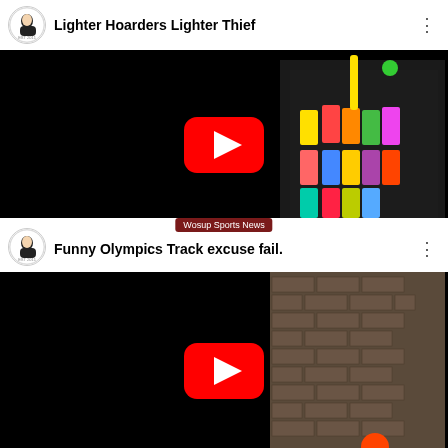[Figure (screenshot): YouTube video thumbnail card for 'Lighter Hoarders Lighter Thief' showing a collection of colorful lighters on a dark surface, with a red YouTube play button overlay, channel avatar on left, and three-dot menu on right.]
[Figure (screenshot): YouTube video thumbnail card for 'Funny Olympics Track excuse fail.' with a 'Wosup Sports News' badge, showing a brick wall image with a red YouTube play button overlay and an orange circle, channel avatar on left, three-dot menu on right.]